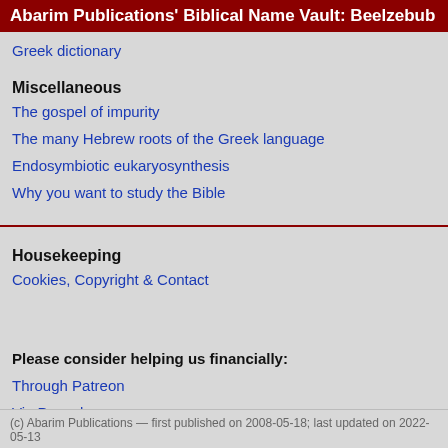Abarim Publications' Biblical Name Vault: Beelzebub
Greek dictionary
Miscellaneous
The gospel of impurity
The many Hebrew roots of the Greek language
Endosymbiotic eukaryosynthesis
Why you want to study the Bible
Housekeeping
Cookies, Copyright & Contact
Please consider helping us financially:
Through Patreon
Via Paypal
(c) Abarim Publications — first published on 2008-05-18; last updated on 2022-05-13